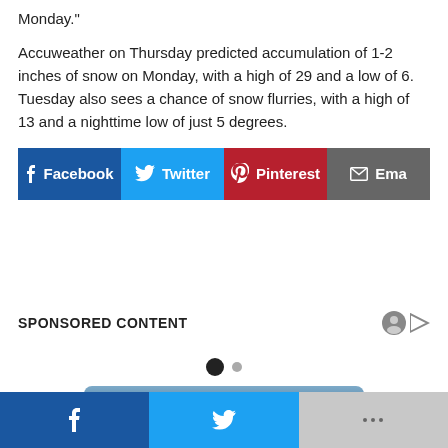Monday."
Accuweather on Thursday predicted accumulation of 1-2 inches of snow on Monday, with a high of 29 and a low of 6. Tuesday also sees a chance of snow flurries, with a high of 13 and a nighttime low of just 5 degrees.
[Figure (infographic): Social share buttons: Facebook (dark blue), Twitter (light blue), Pinterest (dark red), Email (gray)]
SPONSORED CONTENT
[Figure (infographic): Carousel pagination dots: one filled black dot and one smaller gray dot]
[Figure (infographic): Load comments button (blue-gray gradient)]
[Figure (infographic): Bottom navigation bar with Facebook (dark blue), Twitter (light blue), and More/Plus (gray) buttons]